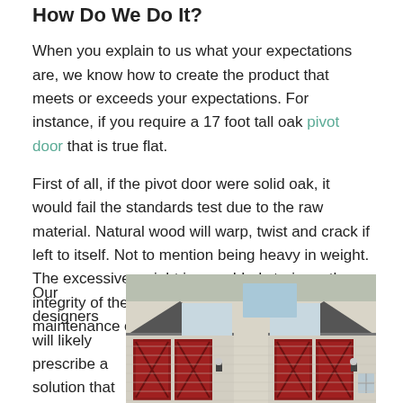How Do We Do It?
When you explain to us what your expectations are, we know how to create the product that meets or exceeds your expectations. For instance, if you require a 17 foot tall oak pivot door that is true flat.
First of all, if the pivot door were solid oak, it would fail the standards test due to the raw material. Natural wood will warp, twist and crack if left to itself. Not to mention being heavy in weight. The excessive weight is an added strain on the integrity of the structure and hardware, increasing maintenance costs over time.
Our designers will likely prescribe a solution that begins with a
[Figure (photo): Exterior of a house showing a garage with red barn-style doors, beige siding, dark shingle roof, and a blue sky window reflection above the garage.]